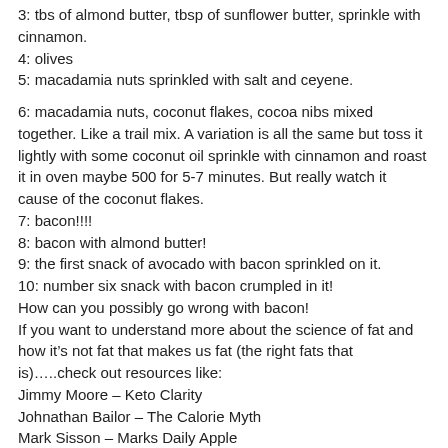3:  tbs of almond butter, tbsp of sunflower butter, sprinkle with cinnamon.
4: olives
5: macadamia nuts sprinkled with salt and ceyene.
6:  macadamia nuts, coconut flakes, cocoa nibs mixed together.  Like a trail mix.  A variation is all the same but toss it lightly with some coconut oil sprinkle with cinnamon and roast it in oven maybe 500 for 5-7 minutes.   But really watch it cause of the coconut flakes.
7: bacon!!!!
8: bacon with almond butter!
9: the first snack of avocado with bacon sprinkled on it.
10:  number six snack with bacon crumpled in it!
How can you possibly go wrong with bacon!
If you want to understand more about the science of fat and how it’s not fat that makes us fat (the right fats that is)…..check out resources like:
Jimmy Moore – Keto Clarity
Johnathan Bailor – The Calorie Myth
Mark Sisson – Marks Daily Apple